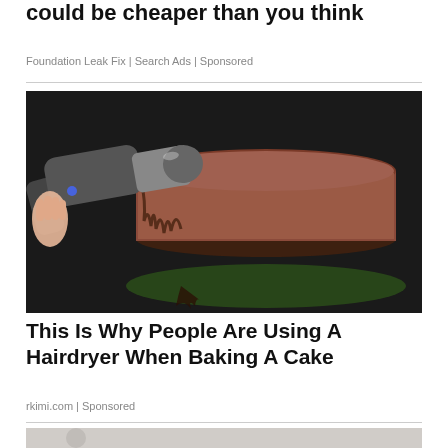could be cheaper than you think
Foundation Leak Fix | Search Ads | Sponsored
[Figure (photo): A hand holding a hair dryer blowing air at a chocolate frosted layer cake on a green plate]
This Is Why People Are Using A Hairdryer When Baking A Cake
rkimi.com | Sponsored
[Figure (photo): Partial view of another image at the bottom of the page]